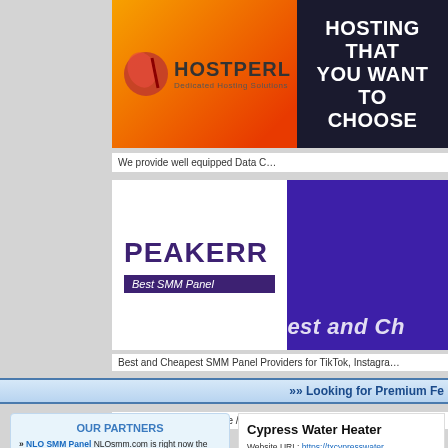[Figure (screenshot): HostPerl dedicated hosting solutions banner with orange/red gradient and dark blue right panel showing 'HOSTING THAT YOU WANT TO CHOOSE']
We provide well equipped Data C
[Figure (screenshot): Peakerr Best SMM Panel banner with white left section and purple right section showing 'Best and Ch']
Best and Cheapest SMM Panel Providers for TikTok, Instagra
»» Looking for Premium Fe
Ace Directory .org / Home / Homeowners / Cypr
OUR PARTNERS
» NLO SMM Panel NLOsmm.com is right now the leading SMM provider with high-quality services. We strive to deliver non-DROP results for all of our services with a lifetime guarantee on the quality of them, join our UFO army and start growing your social media profiles like never before. Be seen by thousands of people and generate leads for your business/project.
Cypress Water Heater
Website URL: https://txcypresswater
Category: Homeowners
If you are in Cypress, Texas, and you corporation to fulfill your water heater a here to help.
PUT YOUR A